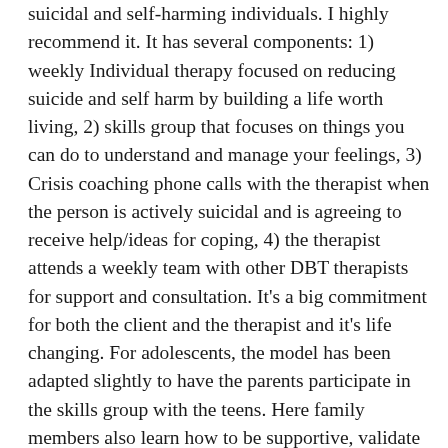suicidal and self-harming individuals. I highly recommend it. It has several components: 1) weekly Individual therapy focused on reducing suicide and self harm by building a life worth living, 2) skills group that focuses on things you can do to understand and manage your feelings, 3) Crisis coaching phone calls with the therapist when the person is actively suicidal and is agreeing to receive help/ideas for coping, 4) the therapist attends a weekly team with other DBT therapists for support and consultation. It's a big commitment for both the client and the therapist and it's life changing. For adolescents, the model has been adapted slightly to have the parents participate in the skills group with the teens. Here family members also learn how to be supportive, validate and be a coach for the teen when they're going through something. To answer the initial question, I do think that it's a balance of seeking out social support and also committing to being